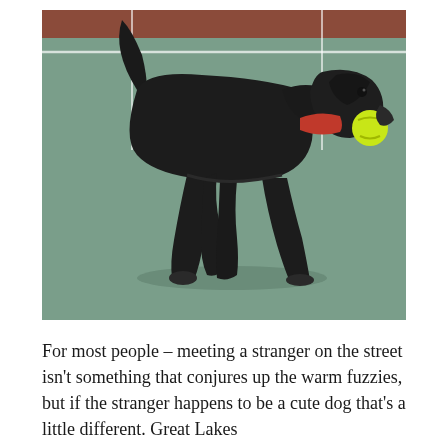[Figure (photo): A black Labrador retriever running/trotting on a tennis court surface, carrying a yellow tennis ball in its mouth. The dog wears a red collar. The tennis court has green and red-brown sections visible.]
For most people – meeting a stranger on the street isn't something that conjures up the warm fuzzies, but if the stranger happens to be a cute dog that's a little different. Great Lakes